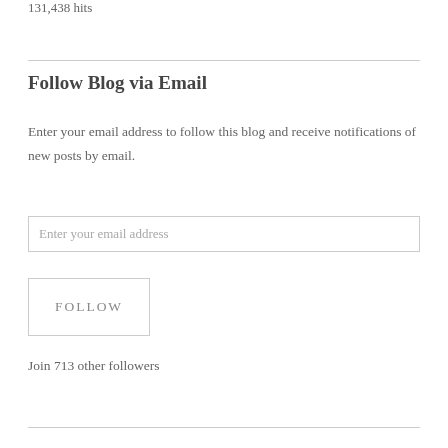131,438 hits
Follow Blog via Email
Enter your email address to follow this blog and receive notifications of new posts by email.
Enter your email address
FOLLOW
Join 713 other followers